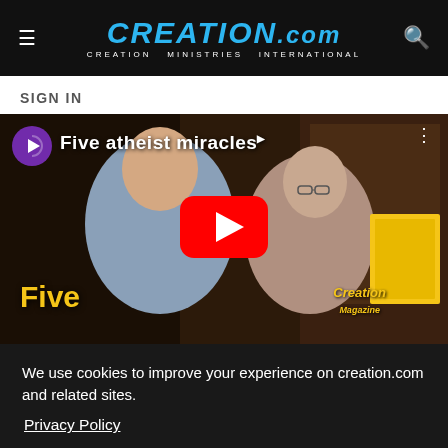CREATION.com CREATION MINISTRIES INTERNATIONAL
SIGN IN
[Figure (screenshot): YouTube video thumbnail showing two men in a studio with the title 'Five atheist miracles' and a YouTube play button overlay. Text 'Five' appears in gold on the lower left, and 'Creation Magazine' appears on the right side.]
We use cookies to improve your experience on creation.com and related sites. Privacy Policy
Understood
Do atheists believe in miracles or magic?